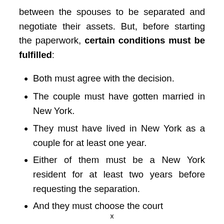between the spouses to be separated and negotiate their assets. But, before starting the paperwork, certain conditions must be fulfilled:
Both must agree with the decision.
The couple must have gotten married in New York.
They must have lived in New York as a couple for at least one year.
Either of them must be a New York resident for at least two years before requesting the separation.
And they must choose the court
x